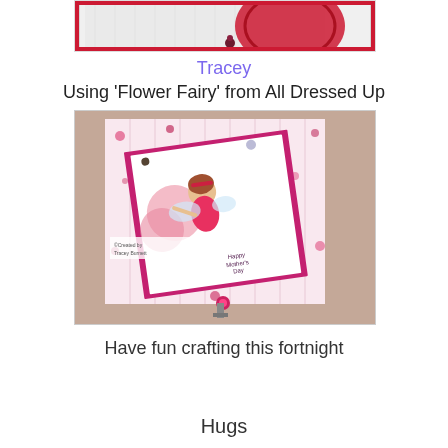[Figure (photo): Top portion of a handmade greeting card with white embossed background and red oval element with small flower embellishment]
Tracey
Using 'Flower Fairy' from All Dressed Up
[Figure (photo): A handmade Mother's Day card featuring a Flower Fairy stamp image, the card has a floral patterned background with pink and magenta colors, a fairy figure holding flowers, small embellishments, and 'Happy Mother's Day' sentiment. Displayed on a card stand. Watermark reads 'Created by Tracey Burnett'.]
Have fun crafting this fortnight
Hugs